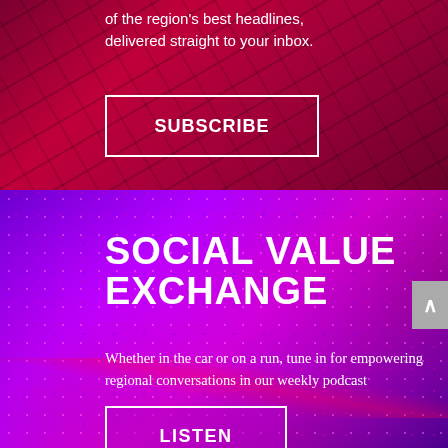of the region's best headlines, delivered straight to your inbox.
SUBSCRIBE
[Figure (illustration): Purple/magenta background section with bold white text reading SOCIAL VALUE EXCHANGE, descriptive paragraph about a weekly podcast, and a LISTEN button]
SOCIAL VALUE EXCHANGE
Whether in the car or on a run, tune in for empowering regional conversations in our weekly podcast
LISTEN